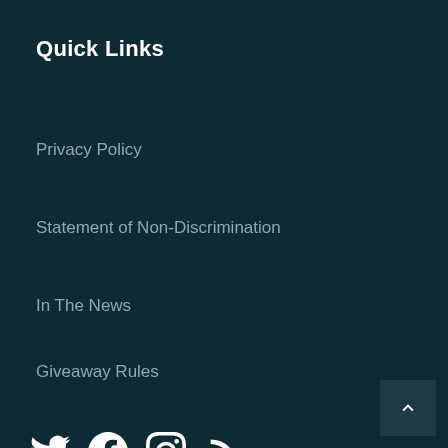Quick Links
Privacy Policy
Statement of Non-Discrimination
In The News
Giveaway Rules
[Figure (infographic): Social media icons: Twitter, Facebook, Instagram, RSS feed]
[Figure (other): Back to top button with upward chevron arrow]